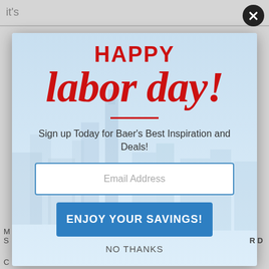HAPPY labor day!
Sign up Today for Baer's Best Inspiration and Deals!
Email Address
ENJOY YOUR SAVINGS!
NO THANKS